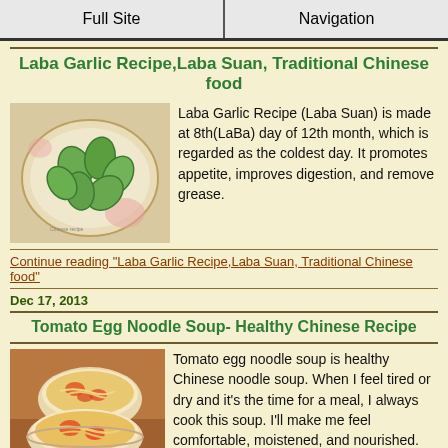Full Site | Navigation
Laba Garlic Recipe,Laba Suan, Traditional Chinese food
[Figure (photo): Photo of green garlic cloves on a white decorative plate]
Laba Garlic Recipe (Laba Suan) is made at 8th(LaBa) day of 12th month, which is regarded as the coldest day. It promotes appetite, improves digestion, and remove grease.
Continue reading "Laba Garlic Recipe,Laba Suan, Traditional Chinese food"
Dec 17, 2013
Tomato Egg Noodle Soup- Healthy Chinese Recipe
[Figure (photo): Photo of tomato egg noodle soup in bowls]
Tomato egg noodle soup is healthy Chinese noodle soup. When I feel tired or dry and it's the time for a meal, I always cook this soup. I'll make me feel comfortable, moistened, and nourished.